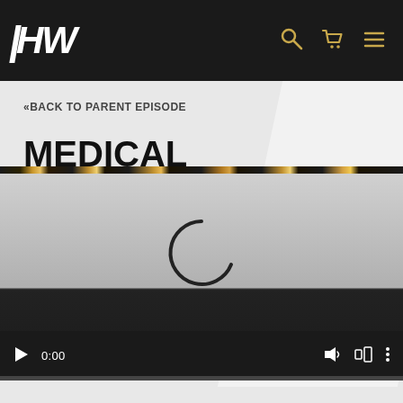HW [logo with search, cart, and menu icons]
«BACK TO PARENT EPISODE
MEDICAL FREEDOM FIGHTERS UNITE!
[Figure (screenshot): Video player showing a loading spinner (partial circle arc) over a gray background, with a dark control bar showing play button, timestamp 0:00, and volume/fullscreen/more icons. A decorative strip of warm bokeh lights separates the title area from the video player.]